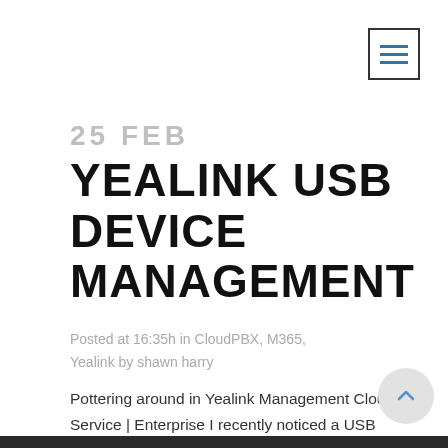[Figure (other): Hamburger menu button icon with three horizontal blue lines inside a square border, top-right corner]
25 FEB
YEALINK USB DEVICE MANAGEMENT
Posted at 16:35h in CloudPBX, M365, Yealink by shawn harry
Pottering around in Yealink Management Cloud Service | Enterprise I recently noticed a USB Device Management feature.
[Figure (other): Dark/black image strip at the bottom of the page]
[Figure (other): Circular scroll-to-top button with upward arrow, bottom-right corner]